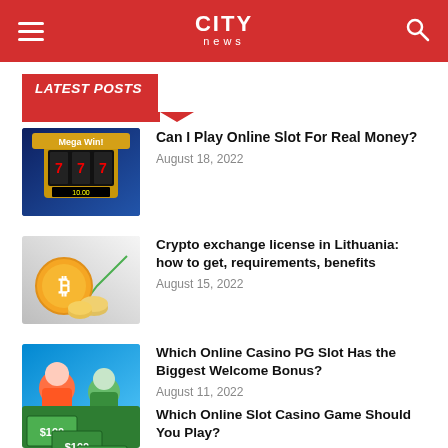CITY news
LATEST POSTS
Can I Play Online Slot For Real Money?
August 18, 2022
Crypto exchange license in Lithuania: how to get, requirements, benefits
August 15, 2022
Which Online Casino PG Slot Has the Biggest Welcome Bonus?
August 11, 2022
Which Online Slot Casino Game Should You Play?